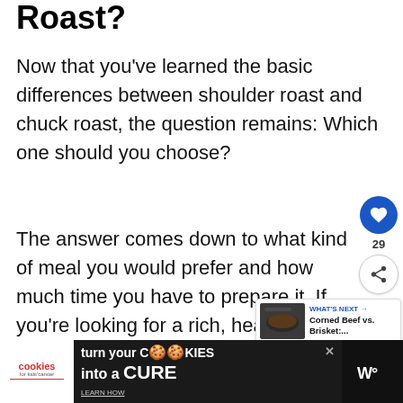Roast?
Now that you've learned the basic differences between shoulder roast and chuck roast, the question remains: Which one should you choose?
The answer comes down to what kind of meal you would prefer and how much time you have to prepare it. If you're looking for a rich, hearty stew, or a pot roast alongside root vegetables, then a chuck roast is the way to
[Figure (other): Social sidebar with heart button showing 29 likes and a share button]
[Figure (other): What's Next widget showing 'Corned Beef vs. Brisket:...' with a thumbnail photo]
[Figure (other): Advertisement banner: 'turn your COOKIES into a CURE' for cookies for kids cancer charity]